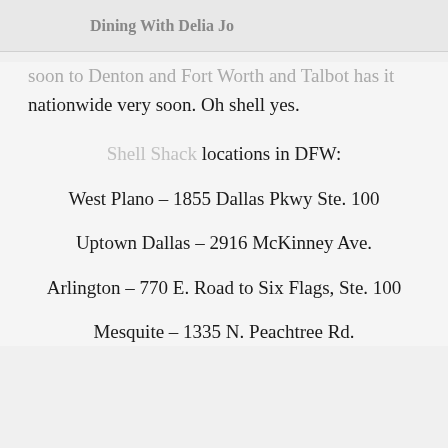Dining With Delia Jo
soon to Denton and Fort Worth and Talbot has it nationwide very soon. Oh shell yes.
Shell Shack locations in DFW:
West Plano – 1855 Dallas Pkwy Ste. 100
Uptown Dallas – 2916 McKinney Ave.
Arlington – 770 E. Road to Six Flags, Ste. 100
Mesquite – 1335 N. Peachtree Rd.